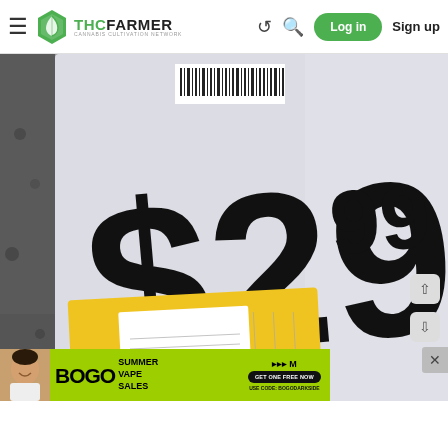[Figure (screenshot): THCFarmer Cannabis Cultivation Network website navigation bar with hamburger menu, logo, brand name, search icons, Log in button (green), and Sign up link]
[Figure (photo): Close-up photo of a retail store price tag showing $29.99 and text 'HEAVY DUTY OVAL 40 GAL' alongside a blue 'LOW PRICE' banner sign. A yellow label/sticker is visible on the product packaging.]
[Figure (screenshot): Advertisement banner showing BOGO Summer Vape Sales promotion with a person's photo on the left, bright green background, and a call-to-action button.]